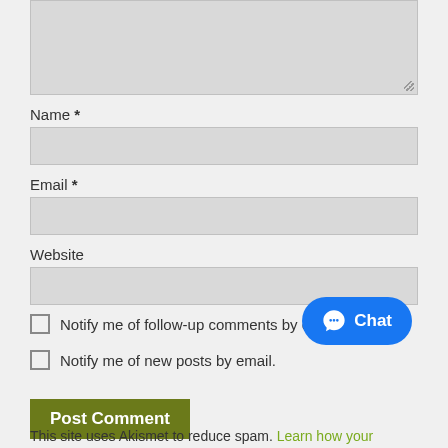[Figure (screenshot): Textarea input box with resize handle at bottom right]
Name *
[Figure (screenshot): Name text input field]
Email *
[Figure (screenshot): Email text input field]
Website
[Figure (screenshot): Website text input field]
Notify me of follow-up comments by email.
Notify me of new posts by email.
Post Comment
Chat
This site uses Akismet to reduce spam. Learn how your